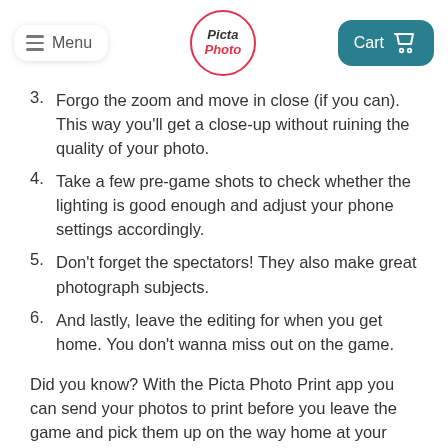Menu | Picta Photo | Cart
3. Forgo the zoom and move in close (if you can). This way you'll get a close-up without ruining the quality of your photo.
4. Take a few pre-game shots to check whether the lighting is good enough and adjust your phone settings accordingly.
5. Don't forget the spectators! They also make great photograph subjects.
6. And lastly, leave the editing for when you get home. You don't wanna miss out on the game.
Did you know? With the Picta Photo Print app you can send your photos to print before you leave the game and pick them up on the way home at your local store and